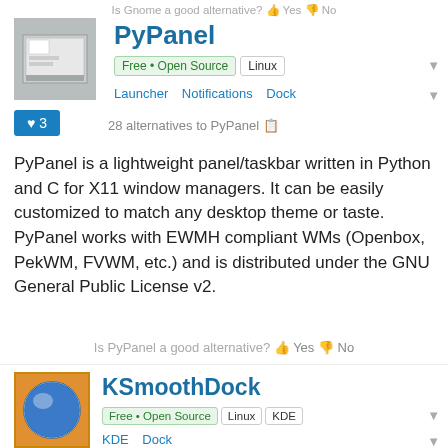Is Gnome a good alternative? Yes No
PyPanel
Free • Open Source  Linux
Launcher  Notifications  Dock
♥ 3
28 alternatives to PyPanel
PyPanel is a lightweight panel/taskbar written in Python and C for X11 window managers. It can be easily customized to match any desktop theme or taste. PyPanel works with EWMH compliant WMs (Openbox, PekWM, FVWM, etc.) and is distributed under the GNU General Public License v2.
Is PyPanel a good alternative? Yes No
KSmoothDock
Free • Open Source  Linux  KDE
KDE  Dock